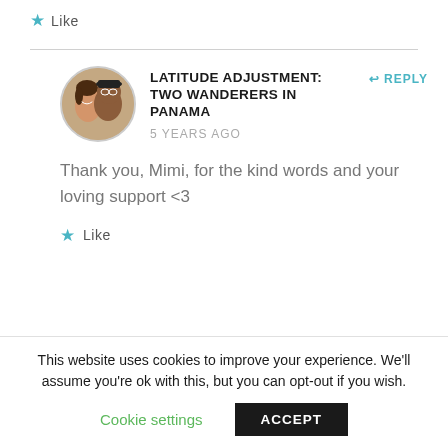Like
LATITUDE ADJUSTMENT: TWO WANDERERS IN PANAMA
5 YEARS AGO
REPLY
Thank you, Mimi, for the kind words and your loving support <3
Like
This website uses cookies to improve your experience. We'll assume you're ok with this, but you can opt-out if you wish.
Cookie settings
ACCEPT